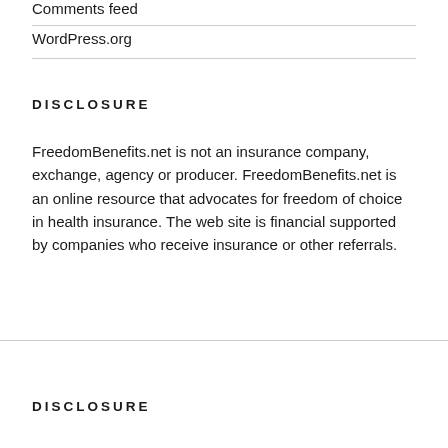Comments feed
WordPress.org
DISCLOSURE
FreedomBenefits.net is not an insurance company, exchange, agency or producer. FreedomBenefits.net is an online resource that advocates for freedom of choice in health insurance. The web site is financial supported by companies who receive insurance or other referrals.
DISCLOSURE